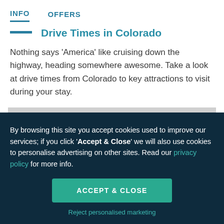INFO   OFFERS
Drive Times in Colorado
Nothing says 'America' like cruising down the highway, heading somewhere awesome. Take a look at drive times from Colorado to key attractions to visit during your stay.
| Drive Times by Car |
| --- |
|  |
| Denver Airport to Broadmoor Resort |
By browsing this site you accept cookies used to improve our services; if you click 'Accept & Close' we will also use cookies to personalise advertising on other sites. Read our privacy policy for more info.
ACCEPT & CLOSE
Reject personalised marketing